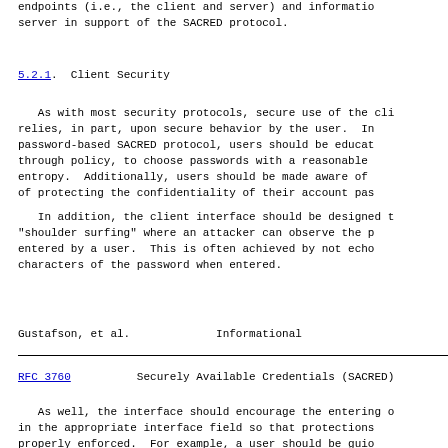endpoints (i.e., the client and server) and informatio server in support of the SACRED protocol.
5.2.1.  Client Security
As with most security protocols, secure use of the cli relies, in part, upon secure behavior by the user.  In password-based SACRED protocol, users should be educat through policy, to choose passwords with a reasonable entropy.  Additionally, users should be made aware of of protecting the confidentiality of their account pas
In addition, the client interface should be designed t "shoulder surfing" where an attacker can observe the p entered by a user.  This is often achieved by not echo characters of the password when entered.
Gustafson, et al.            Informational
RFC 3760        Securely Available Credentials (SACRED)
As well, the interface should encourage the entering o in the appropriate interface field so that protections properly enforced.  For example, a user should be guio